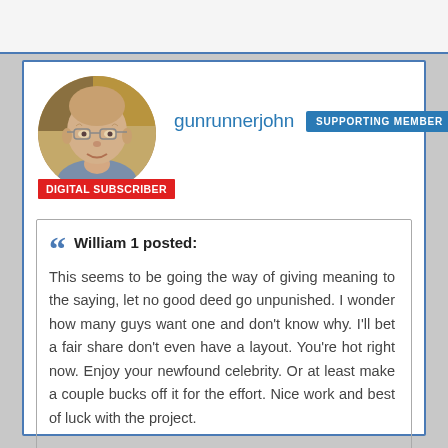[Figure (photo): Profile photo of an elderly bald man with glasses, circular avatar crop]
DIGITAL SUBSCRIBER
gunrunnerjohn
SUPPORTING MEMBER
William 1 posted:
This seems to be going the way of giving meaning to the saying, let no good deed go unpunished.  I wonder how many guys want one and don't know why.  I'll bet a fair share don't even have a layout.  You're hot right now.  Enjoy your newfound celebrity.   Or at least make a couple bucks off it for the effort.  Nice work and best of luck with the project.